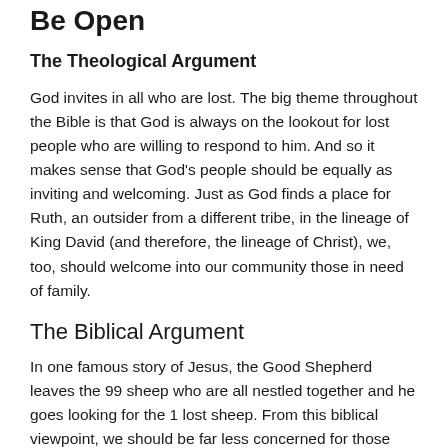Be Open
The Theological Argument
God invites in all who are lost. The big theme throughout the Bible is that God is always on the lookout for lost people who are willing to respond to him. And so it makes sense that God's people should be equally as inviting and welcoming. Just as God finds a place for Ruth, an outsider from a different tribe, in the lineage of King David (and therefore, the lineage of Christ), we, too, should welcome into our community those in need of family.
The Biblical Argument
In one famous story of Jesus, the Good Shepherd leaves the 99 sheep who are all nestled together and he goes looking for the 1 lost sheep. From this biblical viewpoint, we should be far less concerned for those who are connected than we are for the person without a home.